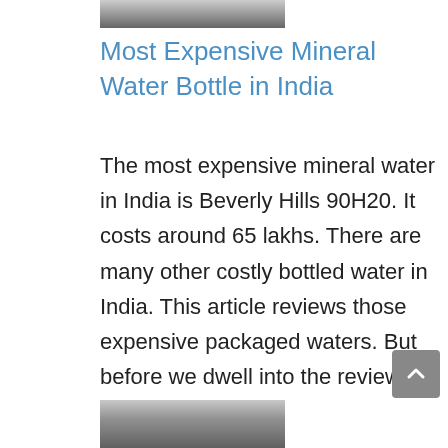[Figure (photo): Partial photo of a person, cropped at top of page]
Most Expensive Mineral Water Bottle in India
The most expensive mineral water in India is Beverly Hills 90H20. It costs around 65 lakhs. There are many other costly bottled water in India. This article reviews those expensive packaged waters. But before we dwell into the reviews,
[Figure (photo): Partial photo of a person, cropped at bottom of page]